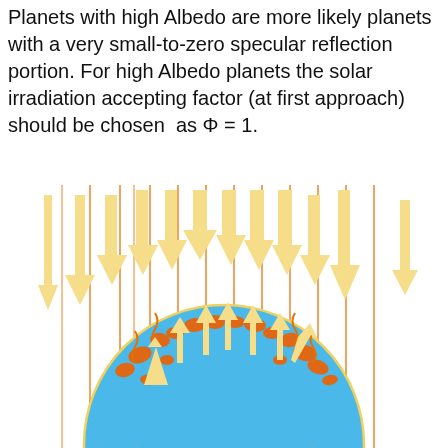Planets with high Albedo are more likely planets with a very small-to-zero specular reflection portion. For high Albedo planets the solar irradiation accepting factor (at first approach) should be chosen as Φ = 1.
[Figure (illustration): Diagram showing a blue planet (hemisphere visible) with orange atmospheric activity around its upper surface. Multiple downward-pointing yellow/cream arrows represent incoming solar irradiation from above, with some arrows reflecting/scattering upward at the planet surface, accompanied by orange flame/heat details indicating absorption and re-emission.]